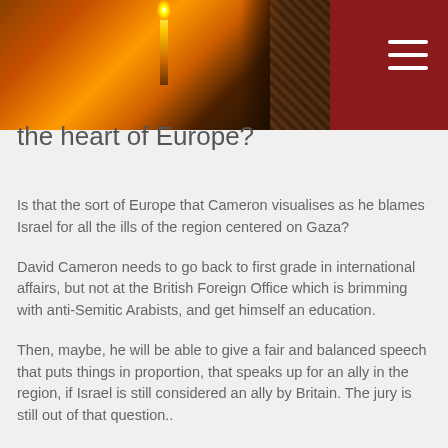[Figure (photo): Header image showing a candle flame against a dark warm-toned background with decorative fabric texture on the right side, with a dark red navigation bar on the right containing a hamburger menu icon.]
the heart of Europe?
Is that the sort of Europe that Cameron visualises as he blames Israel for all the ills of the region centered on Gaza?
David Cameron needs to go back to first grade in international affairs, but not at the British Foreign Office which is brimming with anti-Semitic Arabists, and get himself an education.
Then, maybe, he will be able to give a fair and balanced speech that puts things in proportion, that speaks up for an ally in the region, if Israel is still considered an ally by Britain. The jury is still out of that question..